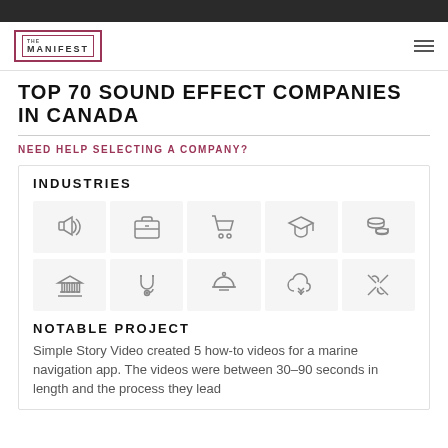The Manifest
TOP 70 SOUND EFFECT COMPANIES IN CANADA
NEED HELP SELECTING A COMPANY?
INDUSTRIES
[Figure (illustration): Two rows of five industry category icons: megaphone (advertising), briefcase (business services), shopping cart (e-commerce), graduation cap (education), coins (finance); second row: pillars/building (government), stethoscope (healthcare/medical), service bell (hospitality), cloud (technology), tools/wrench (other/technical services)]
NOTABLE PROJECT
Simple Story Video created 5 how-to videos for a marine navigation app. The videos were between 30–90 seconds in length and the process they lead